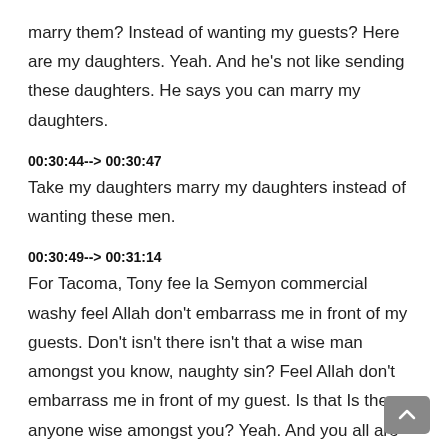marry them? Instead of wanting my guests? Here are my daughters. Yeah. And he's not like sending these daughters. He says you can marry my daughters.
00:30:44--> 00:30:47
Take my daughters marry my daughters instead of wanting these men.
00:30:49--> 00:31:14
For Tacoma, Tony fee la Semyon commercial washy feel Allah don't embarrass me in front of my guests. Don't isn't there isn't that a wise man amongst you know, naughty sin? Feel Allah don't embarrass me in front of my guest. Is that Is there anyone wise amongst you? Yeah. And you all are so Domingo. Is there anybody who's really wise